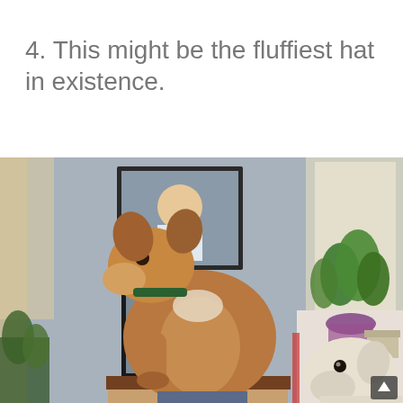4. This might be the fluffiest hat in existence.
[Figure (photo): A brown and white pit bull dog is sitting on top of a person's head like a hat. The dog faces to the left. Another white dog is visible in the lower right corner. The indoor room has framed photos on a gray-blue wall, a green houseplant on a white cabinet, and a window letting in light.]